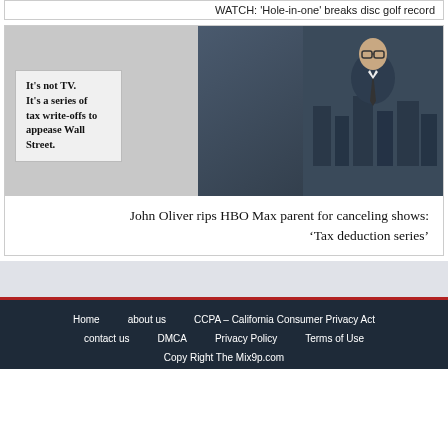WATCH: 'Hole-in-one' breaks disc golf record
[Figure (screenshot): Screenshot from a TV show segment showing a sign reading 'It's not TV. It's a series of tax write-offs to appease Wall Street.' alongside a man in a suit (John Oliver) standing in front of a city backdrop.]
John Oliver rips HBO Max parent for canceling shows: ‘Tax deduction series’
Home | about us | CCPA – California Consumer Privacy Act | contact us | DMCA | Privacy Policy | Terms of Use | Copy Right The Mix9p.com